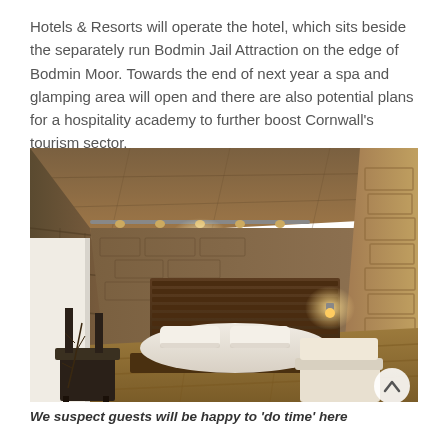Hotels & Resorts will operate the hotel, which sits beside the separately run Bodmin Jail Attraction on the edge of Bodmin Moor. Towards the end of next year a spa and glamping area will open and there are also potential plans for a hospitality academy to further boost Cornwall's tourism sector.
[Figure (photo): Interior render of a hotel room conversion within Bodmin Jail, featuring rough stone walls, warm ambient lighting, a double bed with white linens on a raised wooden platform, a wooden louvred headboard feature wall, wooden flooring, a dark chair in the foreground left, and a white sofa/chair on the right.]
We suspect guests will be happy to 'do time' here